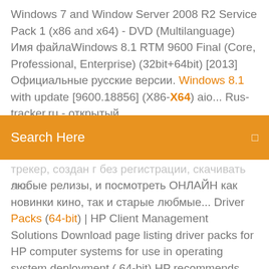Windows 7 and Window Server 2008 R2 Service Pack 1 (x86 and x64) - DVD (Multilanguage) Имя файлаWindows 8.1 RTM 9600 Final (Core, Professional, Enterprise) (32bit+64bit) [2013] Официальные русские версии. Windows 8.1 with update [9600.18856] (X86-X64) aio... Rus-tracker.ru - открытый
[Figure (screenshot): Orange search bar with 'Search Here' placeholder text and a search icon on the right]
трекер, создан г без регистрации, скачивать любые релизы, и посмотреть ОНЛАЙН как новинки кино, так и старые любмые... Driver Packs (64-bit) | HP Client Management Solutions Download page listing driver packs for HP computer systems for use in operating system deployment ( 64-bit).HP recommends using HP Image Assistant (HPIA) to build a driver pack with the most current drivers available.Windows 8.1 64-bit. Windows 8.1 – Update 1 (64 Bit) - Download - COMPUTER...